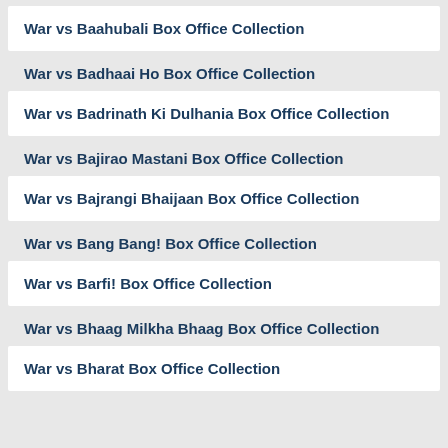War vs Baahubali Box Office Collection
War vs Badhaai Ho Box Office Collection
War vs Badrinath Ki Dulhania Box Office Collection
War vs Bajirao Mastani Box Office Collection
War vs Bajrangi Bhaijaan Box Office Collection
War vs Bang Bang! Box Office Collection
War vs Barfi! Box Office Collection
War vs Bhaag Milkha Bhaag Box Office Collection
War vs Bharat Box Office Collection